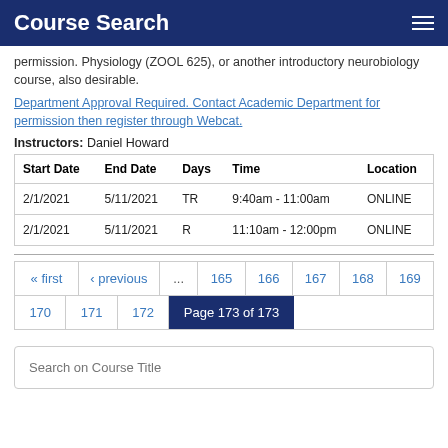Course Search
permission. Physiology (ZOOL 625), or another introductory neurobiology course, also desirable.
Department Approval Required. Contact Academic Department for permission then register through Webcat.
Instructors: Daniel Howard
| Start Date | End Date | Days | Time | Location |
| --- | --- | --- | --- | --- |
| 2/1/2021 | 5/11/2021 | TR | 9:40am - 11:00am | ONLINE |
| 2/1/2021 | 5/11/2021 | R | 11:10am - 12:00pm | ONLINE |
« first  ‹ previous  ...  165  166  167  168  169  170  171  172  Page 173 of 173
Search on Course Title